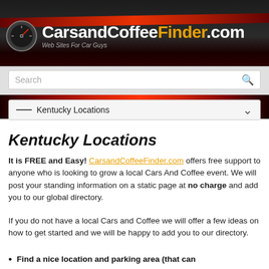[Figure (logo): CarsandCoffeeFinder.com website header with speedometer logo, site name in white and orange, and tagline 'Web Sites For Car Guys']
Search
— Kentucky Locations
Kentucky Locations
It is FREE and Easy! CarsandCoffeeFinder.com offers free support to anyone who is looking to grow a local Cars And Coffee event. We will post your standing information on a static page at no charge and add you to our global directory.
If you do not have a local Cars and Coffee we will offer a few ideas on how to get started and we will be happy to add you to our directory.
Find a nice location and parking area (that can